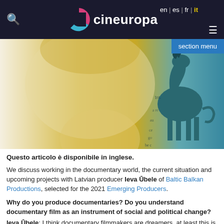en | es | fr | it  cineuropa
[Figure (photo): Hero image showing a close-up of a face with golden/yellow tones on the left and a teal/blue illustrated horse on the right, with handwritten text overlay in the background.]
Questo articolo è disponibile in inglese.
We discuss working in the documentary world, the current situation and upcoming projects with Latvian producer Ieva Ūbele of Baltic Balkan Productions, selected for the 2021 Emerging Producers.
Why do you produce documentaries? Do you understand documentary film as an instrument of social and political change?
Ieva Ūbele: I think documentary filmmakers are dreamers, at least this is my response to why I make documentaries. Despite having probably seen more harsh reality than other people, documentary